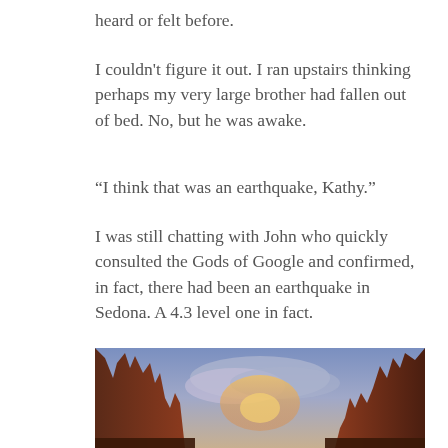heard or felt before.
I couldn't figure it out. I ran upstairs thinking perhaps my very large brother had fallen out of bed. No, but he was awake.
“I think that was an earthquake, Kathy.”
I was still chatting with John who quickly consulted the Gods of Google and confirmed, in fact, there had been an earthquake in Sedona. A 4.3 level one in fact.
“If I were you, I’d be meditating right now,” he said.
[Figure (photo): A dramatic landscape photo showing red rock formations on either side framing a cloudy sky with warm glowing light at center, likely Sedona Arizona red rocks at dusk or dawn.]